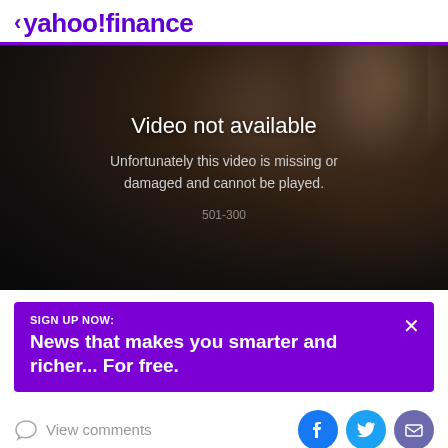< yahoo!finance
[Figure (screenshot): Video player showing error state with dark background and partially visible person silhouette. Text overlaid reads 'Video not available' and 'Unfortunately this video is missing or damaged and cannot be played.' with error code 501-300.]
SIGN UP NOW:
News that makes you smarter and richer... For free.
View comments